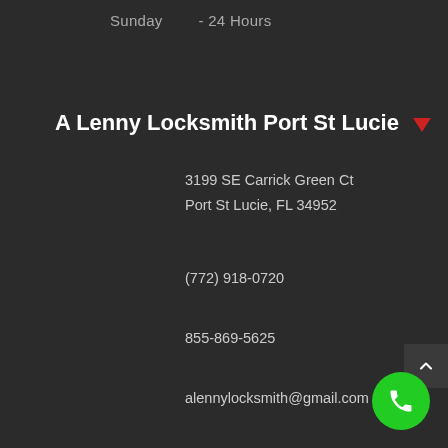Sunday        - 24 Hours
A Lenny Locksmith Port St Lucie
3199 SE Carrick Green Ct
Port St Lucie, FL 34952
(772) 918-0720
855-869-5625
alennylocksmith@gmail.com
[Figure (illustration): Red map pin / location marker icon next to business title]
[Figure (illustration): Dark scroll-to-top button with upward chevron arrow]
[Figure (illustration): Green circular phone call button with white handset icon]